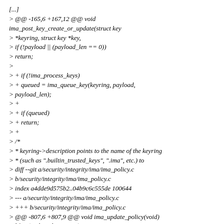[...]
> @@ -165,6 +167,12 @@ void ima_post_key_create_or_update(struct key
> *keyring, struct key *key,
> if (!payload || (payload_len == 0))
> return;
>
> + if (!ima_process_keys)
> + queued = ima_queue_key(keyring, payload,
> payload_len);
> +
> + if (queued)
> + return;
> +
> /*
> * keyring->description points to the name of the keyring
> * (such as ".builtin_trusted_keys", ".ima", etc.) to
> diff --git a/security/integrity/ima/ima_policy.c
> b/security/integrity/ima/ima_policy.c
> index a4dde9d575b2..04b9c6c555de 100644
> --- a/security/integrity/ima/ima_policy.c
> +++ b/security/integrity/ima/ima_policy.c
> @@ -807,6 +807,9 @@ void ima_update_policy(void)
> kfree(arch_policy_entry);
> }